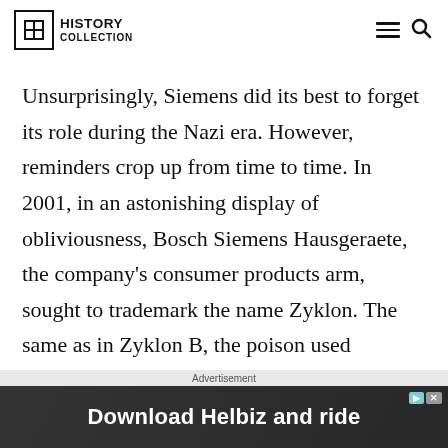HISTORY COLLECTION
Unsurprisingly, Siemens did its best to forget its role during the Nazi era. However, reminders crop up from time to time. In 2001, in an astonishing display of obliviousness, Bosch Siemens Hausgeraete, the company's consumer products arm, sought to trademark the name Zyklon. The same as in Zyklon B, the poison used
[Figure (screenshot): Advertisement banner: 'Download Helbiz and ride' with a dark background showing a scooter handlebar. Includes play and close buttons in the top right corner.]